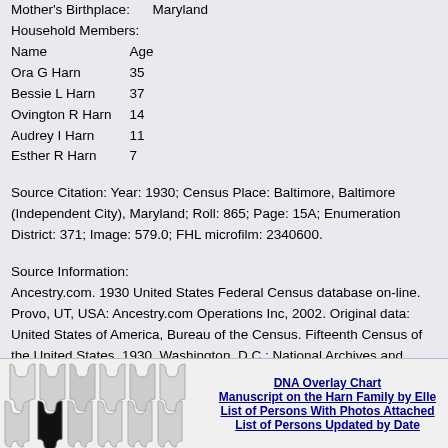Mother's Birthplace:      Maryland
Household Members:
| Name | Age |
| --- | --- |
| Ora G Harn | 35 |
| Bessie L Harn | 37 |
| Ovington R Harn | 14 |
| Audrey I Harn | 11 |
| Esther R Harn | 7 |
Source Citation: Year: 1930; Census Place: Baltimore, Baltimore (Independent City), Maryland; Roll: 865; Page: 15A; Enumeration District: 371; Image: 579.0; FHL microfilm: 2340600.
Source Information:
Ancestry.com. 1930 United States Federal Census database on-line. Provo, UT, USA: Ancestry.com Operations Inc, 2002. Original data: United States of America, Bureau of the Census. Fifteenth Census of the United States, 1930. Washington, D.C.: National Archives and Records Administration, 1930. T626, 2,667 rolls.
[Figure (illustration): Puzzle pieces image with a black missing piece in the center]
DNA Overlay Chart
Manuscript on the Harn Family by Elle
List of Persons With Photos Attached
List of Persons Updated by Date